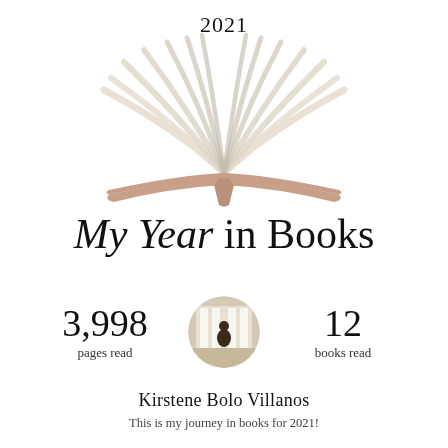2021
[Figure (illustration): Open book illustration with fanned pages in cream and beige tones, with a rose-gold/tan spine and cover at the bottom]
My Year in Books
3,998 pages read
[Figure (photo): Circular profile photo of a person outdoors]
12 books read
Kirstene Bolo Villanos
This is my journey in books for 2021!